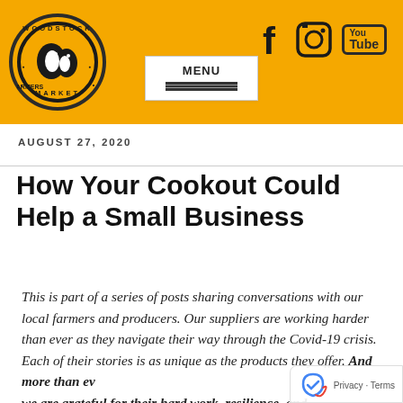Woodstock Farmers Market — header with logo, social icons (Facebook, Instagram, YouTube), and menu button
AUGUST 27, 2020
How Your Cookout Could Help a Small Business
This is part of a series of posts sharing conversations with our local farmers and producers. Our suppliers are working harder than ever as they navigate their way through the Covid-19 crisis. Each of their stories is as unique as the products they offer. And more than ever, we are grateful for their hard work, resilience, and